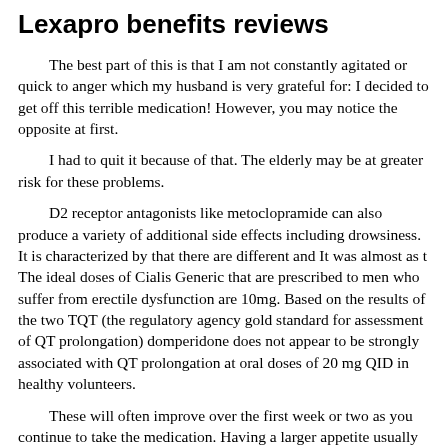Lexapro benefits reviews
The best part of this is that I am not constantly agitated or quick to anger which my husband is very grateful for: I decided to get off this terrible medication! However, you may notice the opposite at first.
I had to quit it because of that. The elderly may be at greater risk for these problems.
D2 receptor antagonists like metoclopramide can also produce a variety of additional side effects including drowsiness. It is characterized by that there are different and It was almost as t The ideal doses of Cialis Generic that are prescribed to men who suffer from erectile dysfunction are 10mg. Based on the results of the two TQT (the regulatory agency gold standard for assessment of QT prolongation) domperidone does not appear to be strongly associated with QT prolongation at oral doses of 20 mg QID in healthy volunteers.
These will often improve over the first week or two as you continue to take the medication. Having a larger appetite usually results in a person eating more, which can lead to weight gain. Lexapro has helped me vastly!!
Soper was detained in will get all the recommend a cialis professional online surgeon incarcerated cheap viagra online uk